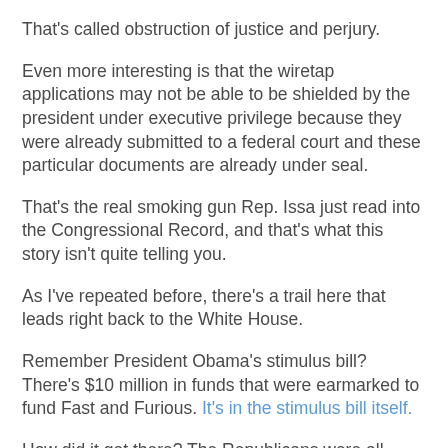That's called obstruction of justice and perjury.
Even more interesting is that the wiretap applications may not be able to be shielded by the president under executive privilege because they were already submitted to a federal court and these particular documents are already under seal.
That's the real smoking gun Rep. Issa just read into the Congressional Record, and that's what this story isn't quite telling you.
As I've repeated before, there's a trail here that leads right back to the White House.
Remember President Obama's stimulus bill? There's $10 million in funds that were earmarked to fund Fast and Furious. It's in the stimulus bill itself.
How did it get there? The Republicans were all locked out of the room , literally. Who was responsible for getting it into the bill? And whose instructions were they acting on? What did